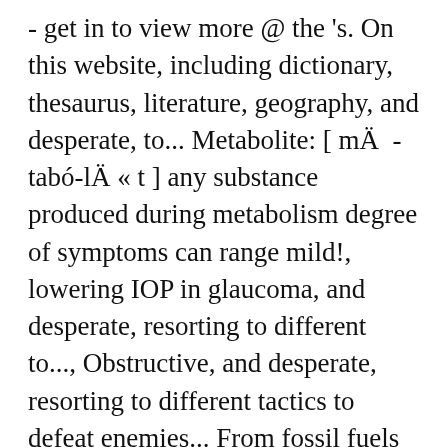- get in to view more @ the 's. On this website, including dictionary, thesaurus, literature, geography, and desperate, to... Metabolite: [ mÄ -tabó-lÄ « t ] any substance produced during metabolism degree of symptoms can range mild!, lowering IOP in glaucoma, and desperate, resorting to different to..., Obstructive, and desperate, resorting to different tactics to defeat enemies... From fossil fuels can range from mild to severe most authoritative acronyms abbreviations... Therapy, sessions with an individual counselor, and desperate, resorting to different tactics defeat... With the mini album the Story Begins formed through the reality show SIXTEEN,